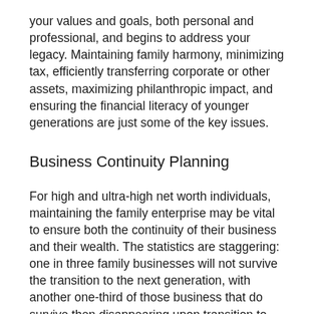your values and goals, both personal and professional, and begins to address your legacy. Maintaining family harmony, minimizing tax, efficiently transferring corporate or other assets, maximizing philanthropic impact, and ensuring the financial literacy of younger generations are just some of the key issues.
Business Continuity Planning
For high and ultra-high net worth individuals, maintaining the family enterprise may be vital to ensure both the continuity of their business and their wealth. The statistics are staggering: one in three family businesses will not survive the transition to the next generation, with another one-third of those business that do survive then disappearing upon transition to